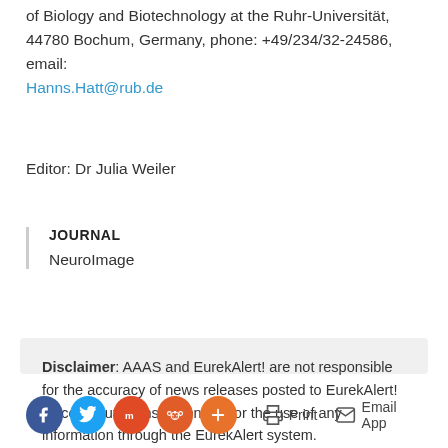of Biology and Biotechnology at the Ruhr-Universität, 44780 Bochum, Germany, phone: +49/234/32-24586, email: Hanns.Hatt@rub.de
Editor: Dr Julia Weiler
JOURNAL
NeuroImage
Disclaimer: AAAS and EurekAlert! are not responsible for the accuracy of news releases posted to EurekAlert! by contributing institutions or for the use of any information through the EurekAlert system.